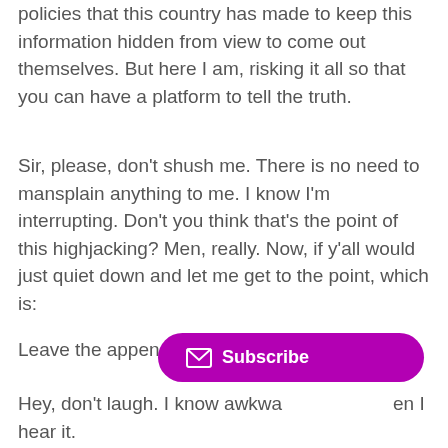policies that this country has made to keep this information hidden from view to come out themselves. But here I am, risking it all so that you can have a platform to tell the truth.
Sir, please, don't shush me. There is no need to mansplain anything to me. I know I'm interrupting. Don't you think that's the point of this highjacking? Men, really. Now, if y'all would just quiet down and let me get to the point, which is:
Leave the appendix alone.
Hey, don't laugh. I know awkwa[rd silence] when I hear it.
[Figure (other): Purple/magenta rounded pill-shaped Subscribe button with envelope icon]